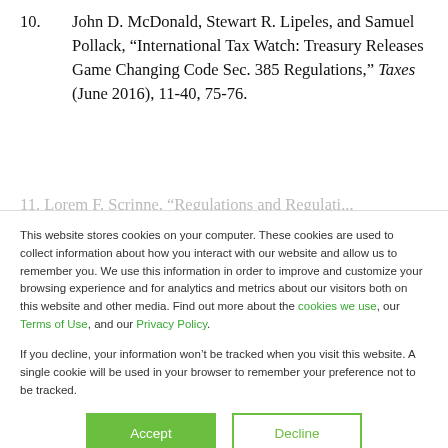10. John D. McDonald, Stewart R. Lipeles, and Samuel Pollack, “International Tax Watch: Treasury Releases Game Changing Code Sec. 385 Regulations,” Taxes (June 2016), 11-40, 75-76.
This website stores cookies on your computer. These cookies are used to collect information about how you interact with our website and allow us to remember you. We use this information in order to improve and customize your browsing experience and for analytics and metrics about our visitors both on this website and other media. Find out more about the cookies we use, our Terms of Use, and our Privacy Policy.
If you decline, your information won’t be tracked when you visit this website. A single cookie will be used in your browser to remember your preference not to be tracked.